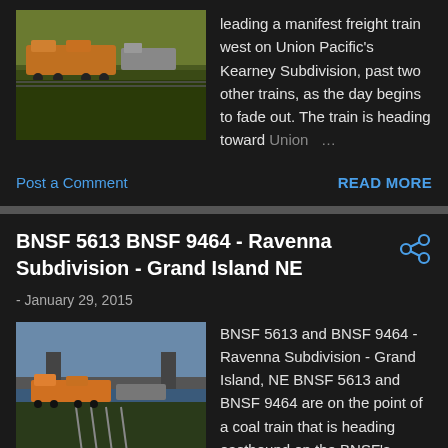[Figure (photo): Thumbnail photo of freight trains on Union Pacific Kearney Subdivision]
leading a manifest freight train west on Union Pacific's Kearney Subdivision, past two other trains, as the day begins to fade out. The train is heading toward Union ...
Post a Comment
READ MORE
BNSF 5613 BNSF 9464 - Ravenna Subdivision - Grand Island NE
- January 29, 2015
[Figure (photo): Thumbnail photo of BNSF trains on Ravenna Subdivision at Grand Island NE]
BNSF 5613 and BNSF 9464 - Ravenna Subdivision - Grand Island, NE BNSF 5613 and BNSF 9464 are on the point of a coal train that is heading eastbound on the BNSF's Ravenna Subdivision. The train is ...